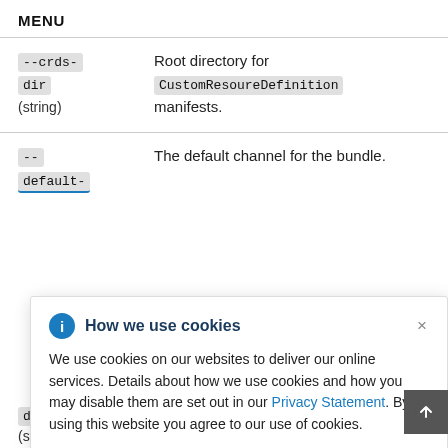MENU
--crds-dir    Root directory for CustomResoureDefinition manifests. (string)
--    The default channel for the bundle.
default-
How we use cookies
We use cookies on our websites to deliver our online services. Details about how we use cookies and how you may disable them are set out in our Privacy Statement. By using this website you agree to our use of cookies.
ents and
dir    ABL for this directory is different
(string)    from the directory passed to the    --